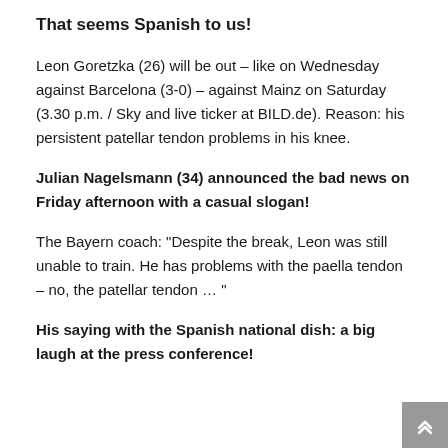That seems Spanish to us!
Leon Goretzka (26) will be out – like on Wednesday against Barcelona (3-0) – against Mainz on Saturday (3.30 p.m. / Sky and live ticker at BILD.de). Reason: his persistent patellar tendon problems in his knee.
Julian Nagelsmann (34) announced the bad news on Friday afternoon with a casual slogan!
The Bayern coach: “Despite the break, Leon was still unable to train. He has problems with the paella tendon – no, the patellar tendon … ”
His saying with the Spanish national dish: a big laugh at the press conference!